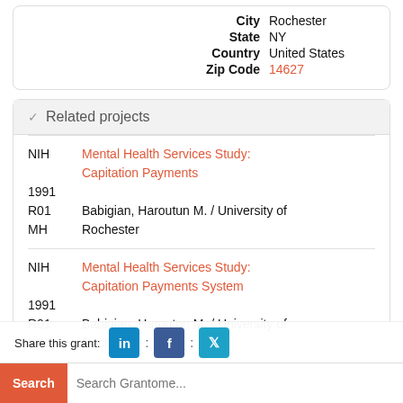| City | Rochester |
| State | NY |
| Country | United States |
| Zip Code | 14627 |
Related projects
NIH 1991 R01 MH  Mental Health Services Study: Capitation Payments  Babigian, Haroutun M. / University of Rochester
NIH 1991 R01 MH  Mental Health Services Study: Capitation Payments System  Babigian, Haroutun M. / University of Rochester
Share this grant:
Search  Search Grantome...